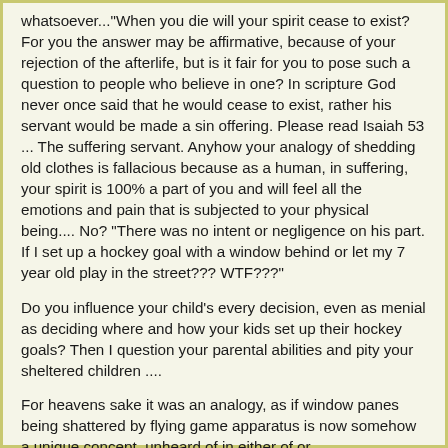whatsoever..."When you die will your spirit cease to exist? For you the answer may be affirmative, because of your rejection of the afterlife, but is it fair for you to pose such a question to people who believe in one? In scripture God never once said that he would cease to exist, rather his servant would be made a sin offering. Please read Isaiah 53 ... The suffering servant. Anyhow your analogy of shedding old clothes is fallacious because as a human, in suffering, your spirit is 100% a part of you and will feel all the emotions and pain that is subjected to your physical being.... No? "There was no intent or negligence on his part. If I set up a hockey goal with a window behind or let my 7 year old play in the street??? WTF???"
Do you influence your child's every decision, even as menial as deciding where and how your kids set up their hockey goals? Then I question your parental abilities and pity your sheltered children ....
For heavens sake it was an analogy, as if window panes being shattered by flying game apparatus is now somehow a unique concept, unheard of in either of or...